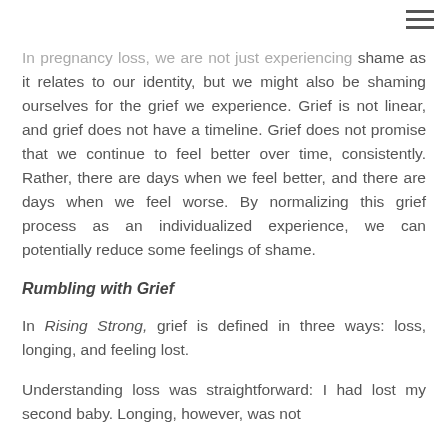In pregnancy loss, we are not just experiencing shame as it relates to our identity, but we might also be shaming ourselves for the grief we experience. Grief is not linear, and grief does not have a timeline. Grief does not promise that we continue to feel better over time, consistently. Rather, there are days when we feel better, and there are days when we feel worse. By normalizing this grief process as an individualized experience, we can potentially reduce some feelings of shame.
Rumbling with Grief
In Rising Strong, grief is defined in three ways: loss, longing, and feeling lost.
Understanding loss was straightforward: I had lost my second baby. Longing, however, was not